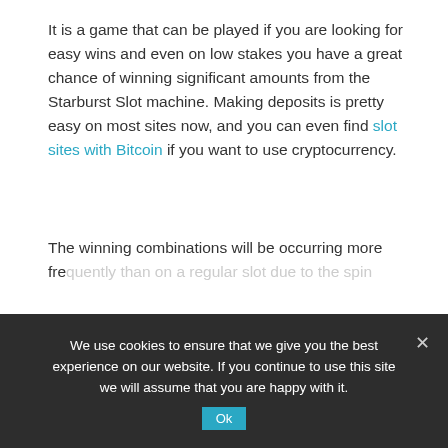It is a game that can be played if you are looking for easy wins and even on low stakes you have a great chance of winning significant amounts from the Starburst Slot machine. Making deposits is pretty easy on most sites now, and you can even find slot sites with Bitcoin if you want to use cryptocurrency.
The winning combinations will be occurring more frequently than on a regular slot due to the spin slot, it pays out often and the wins can be very impressive.
We use cookies to ensure that we give you the best experience on our website. If you continue to use this site we will assume that you are happy with it.
Starburst Slot Casinos